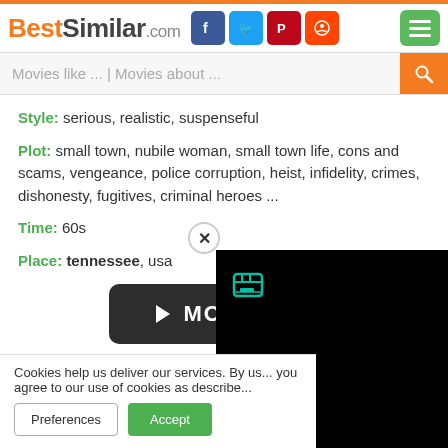BestSimilar.com
Movies like ... | Movies about ...
Style: serious, realistic, suspenseful
Plot: small town, nubile woman, small town life, cons and scams, vengeance, police corruption, heist, infidelity, crimes, dishonesty, fugitives, criminal heroes ...
Time: 60s
Place: tennessee, usa
[Figure (other): MOVIE play button]
similar...
Cookies help us deliver our services. By us... you agree to our use of cookies as describe...
Preferences  Accept